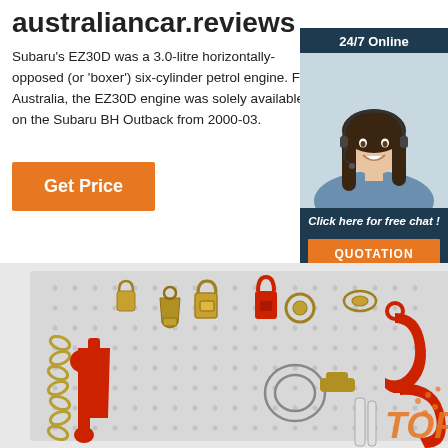australiancar.reviews
Subaru's EZ30D was a 3.0-litre horizontally-opposed (or 'boxer') six-cylinder petrol engine. For Australia, the EZ30D engine was solely available on the Subaru BH Outback from 2000-03.
[Figure (other): Orange 'Get Price' button]
[Figure (other): 24/7 online chat advertisement widget with photo of woman wearing headset, 'Click here for free chat!' text and orange QUOTATION button]
[Figure (photo): Pegboard display of various rigging/lifting hardware tools including chains, shackles, clamps, hooks, and wrenches in red and gold colors. Orange 'TOP' label visible at lower right.]